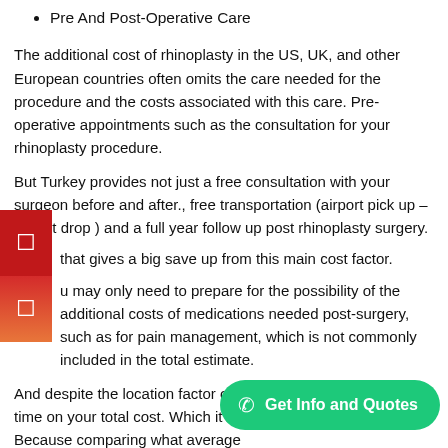Pre And Post-Operative Care
The additional cost of rhinoplasty in the US, UK, and other European countries often omits the care needed for the procedure and the costs associated with this care. Pre-operative appointments such as the consultation for your rhinoplasty procedure.
But Turkey provides not just a free consultation with your surgeon before and after., free transportation (airport pick up – airport drop ) and a full year follow up post rhinoplasty surgery.
that gives a big save up from this main cost factor.
u may only need to prepare for the possibility of the additional costs of medications needed post-surgery, such as for pain management, which is not commonly included in the total estimate.
And despite the location factor of your time on your total cost. Which it's an Because comparing what average patients are being charged for